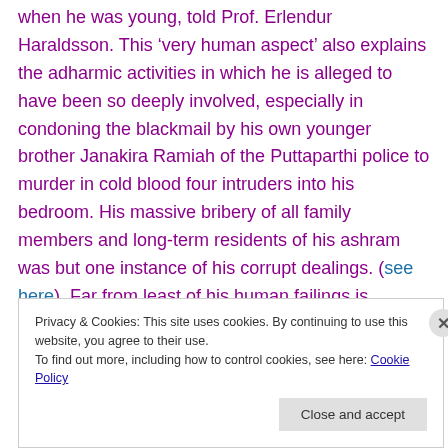when he was young, told Prof. Erlendur Haraldsson. This ‘very human aspect’ also explains the adharmic activities in which he is alleged to have been so deeply involved, especially in condoning the blackmail by his own younger brother Janakira Ramiah of the Puttaparthi police to murder in cold blood four intruders into his bedroom. His massive bribery of all family members and long-term residents of his ashram was but one instance of his corrupt dealings. (see here). Far from least of his human failings is
Privacy & Cookies: This site uses cookies. By continuing to use this website, you agree to their use. To find out more, including how to control cookies, see here: Cookie Policy